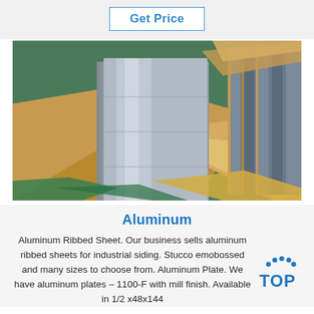Get Price
[Figure (photo): Stacked aluminum ribbed/flat sheets wrapped in brown paper and green/yellow packaging material, stored industrially.]
Aluminum
Aluminum Ribbed Sheet. Our business sells aluminum ribbed sheets for industrial siding. Stucco emobossed and many sizes to choose from. Aluminum Plate. We have aluminum plates – 1100-F with mill finish. Available in 1/2 x48x144
[Figure (logo): TOP logo with blue dots arc above the letters TOP in blue]